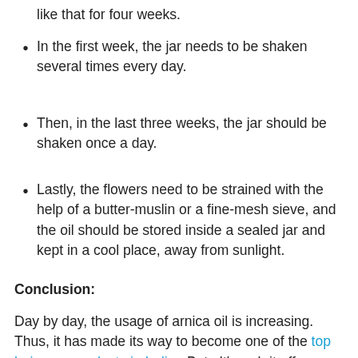like that for four weeks.
In the first week, the jar needs to be shaken several times every day.
Then, in the last three weeks, the jar should be shaken once a day.
Lastly, the flowers need to be strained with the help of a butter-muslin or a fine-mesh sieve, and the oil should be stored inside a sealed jar and kept in a cool place, away from sunlight.
Conclusion:
Day by day, the usage of arnica oil is increasing. Thus, it has made its way to become one of the top hair care products in India.  But although it offers several benefits, sometimes it causes side effects too, like itching, runny nose, hives,